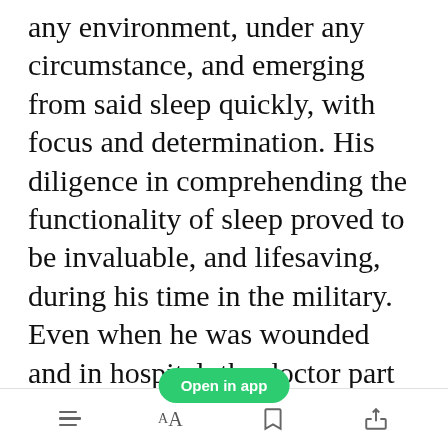any environment, under any circumstance, and emerging from said sleep quickly, with focus and determination. His diligence in comprehending the functionality of sleep proved to be invaluable, and lifesaving, during his time in the military. Even when he was wounded and in hospital, the doctor part of his psyche overruled the disgruntled soldier side with the admonition that sleep was vital for
[Figure (other): Green 'Open in app' button overlay]
Toolbar with list, font size, bookmark, and share icons